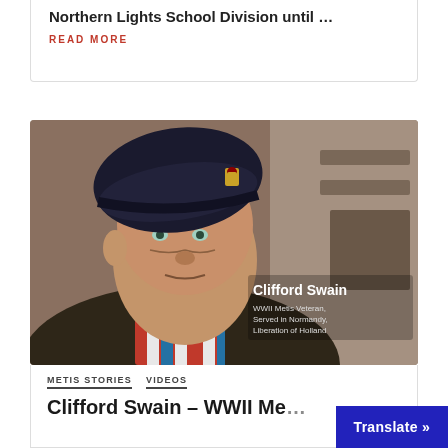Northern Lights School Division until …
READ MORE
[Figure (photo): Elderly man wearing a dark navy beret with a gold badge, dressed in an olive jacket with a colorful red-white-blue Métis sash, identified as Clifford Swain, WWII Métis Veteran, Served in Normandy, Liberation of Holland]
Clifford Swain
WWII Metis Veteran,
Served in Normandy,
Liberation of Holland
METIS STORIES   VIDEOS
Clifford Swain – WWII Me…
Translate »